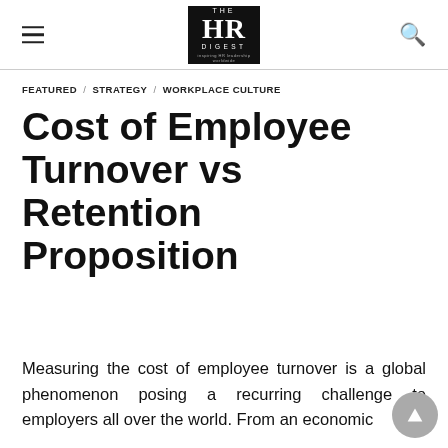THE HR DIGEST
FEATURED / STRATEGY / WORKPLACE CULTURE
Cost of Employee Turnover vs Retention Proposition
Measuring the cost of employee turnover is a global phenomenon posing a recurring challenge to employers all over the world. From an economic